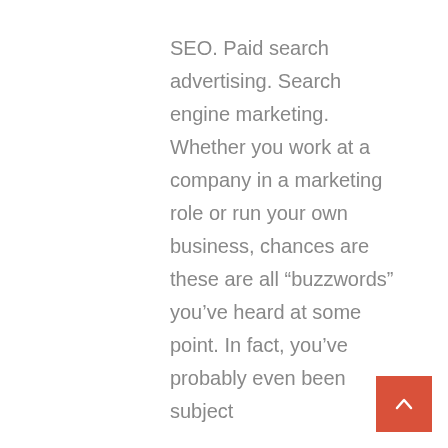SEO. Paid search advertising. Search engine marketing. Whether you work at a company in a marketing role or run your own business, chances are these are all “buzzwords” you’ve heard at some point. In fact, you’ve probably even been subject